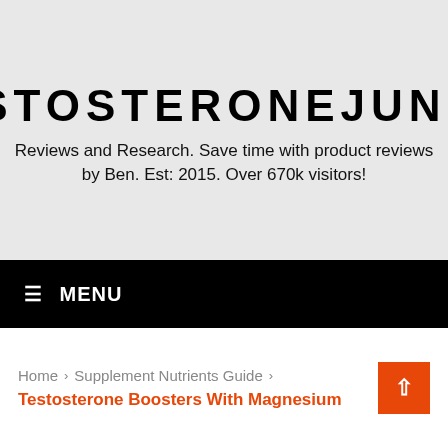TESTOSTERONEJUNKIE
Reviews and Research. Save time with product reviews by Ben. Est: 2015. Over 670k visitors!
≡ MENU
Home > Supplement Nutrients Guide > Testosterone Boosters With Magnesium